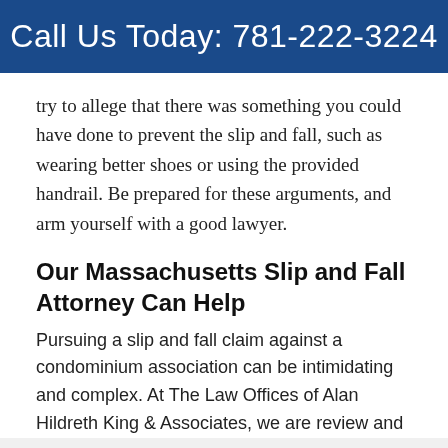Call Us Today: 781-222-3224
try to allege that there was something you could have done to prevent the slip and fall, such as wearing better shoes or using the provided handrail. Be prepared for these arguments, and arm yourself with a good lawyer.
Our Massachusetts Slip and Fall Attorney Can Help
Pursuing a slip and fall claim against a condominium association can be intimidating and complex. At The Law Offices of Alan Hildreth King & Associates, we are review and